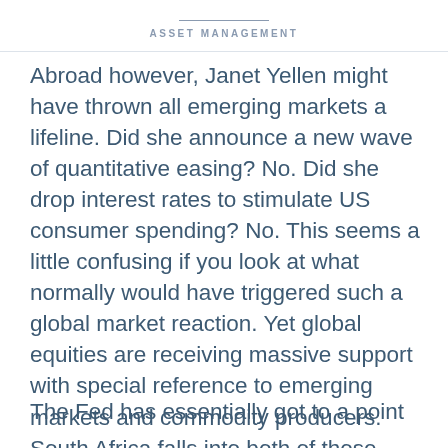ASSET MANAGEMENT
Abroad however, Janet Yellen might have thrown all emerging markets a lifeline. Did she announce a new wave of quantitative easing? No. Did she drop interest rates to stimulate US consumer spending? No. This seems a little confusing if you look at what normally would have triggered such a global market reaction. Yet global equities are receiving massive support with special reference to emerging markets and commodity producers. South Africa falls into both of those categories.
The Fed has essentially got to a point